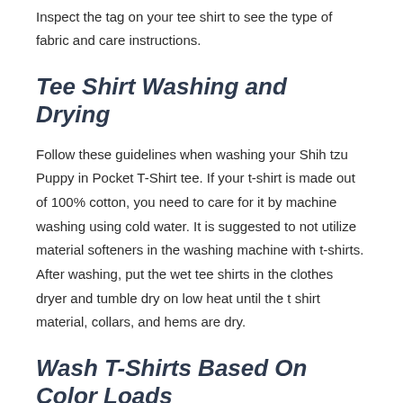Inspect the tag on your tee shirt to see the type of fabric and care instructions.
Tee Shirt Washing and Drying
Follow these guidelines when washing your Shih tzu Puppy in Pocket T-Shirt tee. If your t-shirt is made out of 100% cotton, you need to care for it by machine washing using cold water. It is suggested to not utilize material softeners in the washing machine with t-shirts. After washing, put the wet tee shirts in the clothes dryer and tumble dry on low heat until the t shirt material, collars, and hems are dry.
Wash T-Shirts Based On Color Loads
The very best practice is to wash your tee shirts based on color grouped loads like lights and darks. Combining the